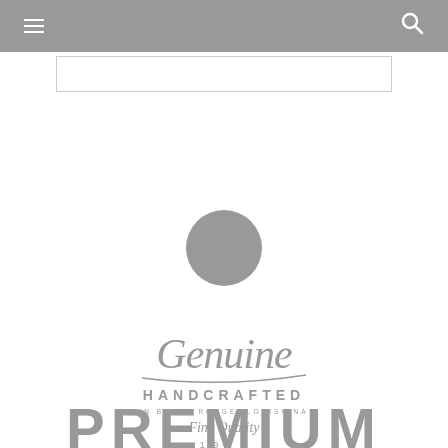[Figure (screenshot): Website header navigation bar with hamburger menu icon on left and search icon on right, gray background]
[Figure (logo): Genuine Handcrafted logo in gray - italic/script 'Genuine' text above, 'HANDCRAFTED' in spaced capitals, 'IN BATON ROUGE, LOUISIANA' in small caps, 'Fine Quality' in script, '1982' text, and 'PREMIUM' partial text at bottom]
[Figure (illustration): Gray circle placeholder image in center of page]